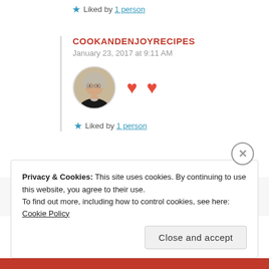★ Liked by 1 person
COOKANDENJOYRECIPES
January 23, 2017 at 9:11 AM
[Figure (photo): Round avatar photo of a woman with short grey hair and glasses, wearing a dark top]
❤ ❤
★ Liked by 1 person
Privacy & Cookies: This site uses cookies. By continuing to use this website, you agree to their use. To find out more, including how to control cookies, see here: Cookie Policy
Close and accept